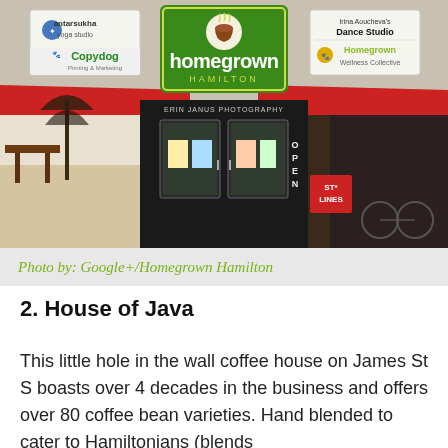[Figure (photo): Exterior storefront photo of Homegrown Hamilton coffee shop with green and red awnings, signage for antarsukha yoga studio, Copydog, Irina Aoucheva's Dance Studio, and Homegrown Wellness Collective. Double glass doors with ERIN JANUS PHOTOGRAPHY and OPEN signs visible.]
Photo by: Google+/Homegrown Hamilton
2. House of Java
This little hole in the wall coffee house on James St S boasts over 4 decades in the business and offers over 80 coffee bean varieties. Hand blended to cater to Hamiltonians (blends